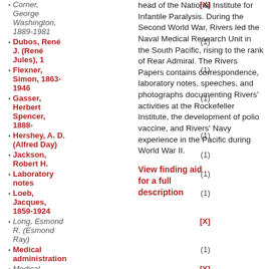Corner, George Washington, 1889-1981 [X]
Dubos, René J. (René Jules), 1 (1)
Flexner, Simon, 1863-1946 (1)
Gasser, Herbert Spencer, 1888- (1)
Hershey, A. D. (Alfred Day) (1)
Jackson, Robert H. (1)
Laboratory notes (1)
Loeb, Jacques, 1859-1924 (1)
Long, Esmond R. (Esmond Ray) [X]
Medical administration (1)
Medical [X]
head of the National Institute for Infantile Paralysis. During the Second World War, Rivers led the Naval Medical Research Unit in the South Pacific, rising to the rank of Rear Admiral. The Rivers Papers contains correspondence, laboratory notes, speeches, and photographs documenting Rivers' activities at the Rockefeller Institute, the development of polio vaccine, and Rivers' Navy experience in the Pacific during World War II.
View finding aid for a full description